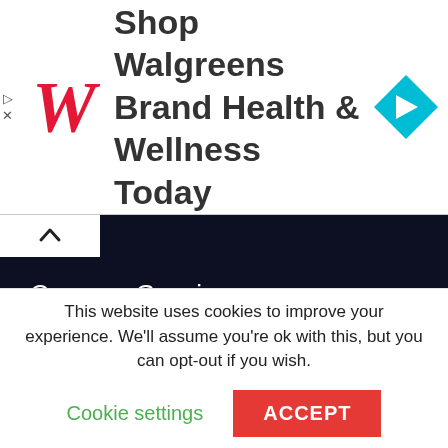[Figure (advertisement): Walgreens brand advertisement banner with red italic W logo, text 'Shop Walgreens Brand Health & Wellness Today', and a blue diamond-shaped navigation arrow icon on the right.]
Caravan Gossip
Motorhome Gossip
CamperVan Gossip
Tow Car Gossip
This website uses cookies to improve your experience. We'll assume you're ok with this, but you can opt-out if you wish.
Cookie settings   ACCEPT